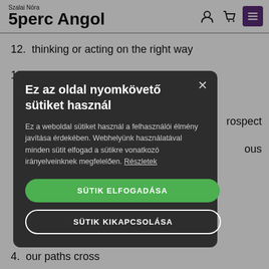Szalai Nóra 5perc Angol
12.  thinking or acting on the right way
13.  getting from one place to another
[Figure (screenshot): Cookie consent modal dialog with dark background. Title: 'Ez az oldal nyomkövető sütiket használ'. Body text explaining cookie use. Two buttons: 'SÜTIK ELFOGADÁSA' (green) and 'SÜTIK KIKAPCSOLÁSA' (outline). Close X button in top right.]
4.  our paths cross